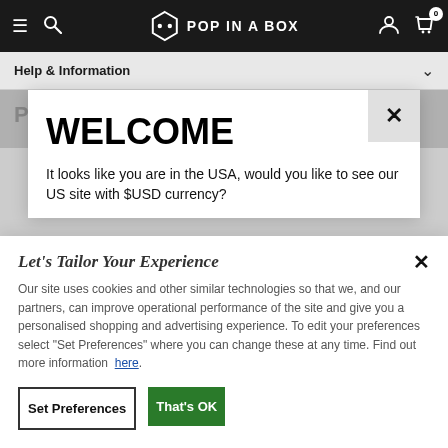Pop In A Box — navigation bar with hamburger menu, search, logo, account and cart icons
Help & Information
WELCOME
It looks like you are in the USA, would you like to see our US site with $USD currency?
Let's Tailor Your Experience
Our site uses cookies and other similar technologies so that we, and our partners, can improve operational performance of the site and give you a personalised shopping and advertising experience. To edit your preferences select "Set Preferences" where you can change these at any time. Find out more information here.
Set Preferences
That's OK